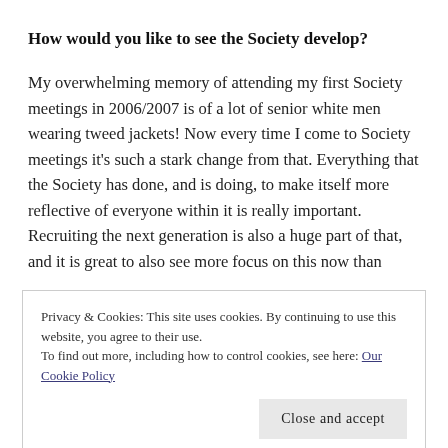How would you like to see the Society develop?
My overwhelming memory of attending my first Society meetings in 2006/2007 is of a lot of senior white men wearing tweed jackets! Now every time I come to Society meetings it’s such a stark change from that. Everything that the Society has done, and is doing, to make itself more reflective of everyone within it is really important. Recruiting the next generation is also a huge part of that, and it is great to also see more focus on this now than
Privacy & Cookies: This site uses cookies. By continuing to use this website, you agree to their use.
To find out more, including how to control cookies, see here: Our Cookie Policy
That level of change takes time and effort and over the